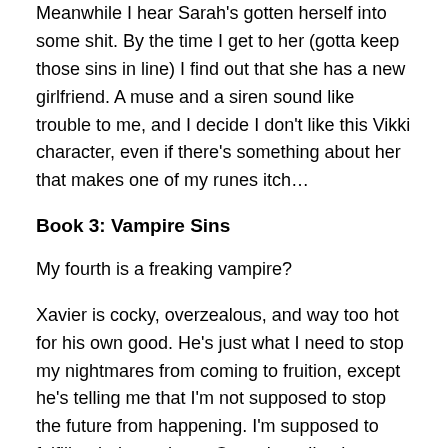Meanwhile I hear Sarah's gotten herself into some shit. By the time I get to her (gotta keep those sins in line) I find out that she has a new girlfriend. A muse and a siren sound like trouble to me, and I decide I don't like this Vikki character, even if there's something about her that makes one of my runes itch…
Book 3: Vampire Sins
My fourth is a freaking vampire?
Xavier is cocky, overzealous, and way too hot for his own good. He's just what I need to stop my nightmares from coming to fruition, except he's telling me that I'm not supposed to stop the future from happening. I'm supposed to fulfill a dark prophecy. One where I'm the Queen of Hell, turned into a vampire, and I save hell itself from being destroyed.